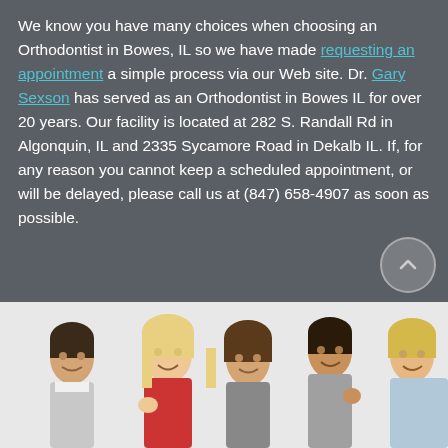We know you have many choices when choosing an Orthodontist in Bowes, IL so we have made requesting an appointment a simple process via our Web site. Dr. Gary Sexson has served as an Orthodontist in Bowes IL for over 20 years. Our facility is located at 282 S. Randall Rd in Algonquin, IL and 2335 Sycamore Road in Dekalb IL. If, for any reason you cannot keep a scheduled appointment, or will be delayed, please call us at (847) 658-4907 as soon as possible.
[Figure (photo): Group of five smiling people giving thumbs up, photographed against a white background]